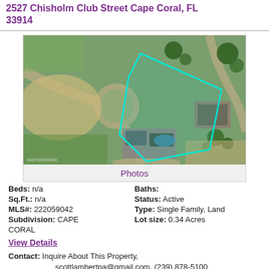2527 Chisholm Club Street Cape Coral, FL 33914
[Figure (photo): Aerial satellite view of a residential lot in Cape Coral, FL with a teal/cyan property boundary outline drawn over the parcel, showing neighboring homes, streets, and green lawns.]
Photos
Beds: n/a    Baths:
Sq.Ft.: n/a    Status: Active
MLS#: 222059042    Type: Single Family, Land
Subdivision: CAPE CORAL    Lot size: 0.34 Acres
View Details
Contact: Inquire About This Property, scottlambertpa@gmail.com, (239) 878-5100
Courtesy: Gulf Gateway Realty, Inc.